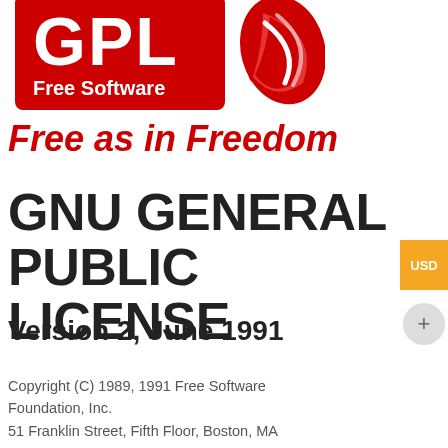[Figure (logo): GPL Free Software logo — red shield with white text 'GPL' and 'Free Software', with a red swoosh/flame design to the right]
Free as in Freedom
GNU GENERAL PUBLIC LICENSE
Version 2, June 1991
Copyright (C) 1989, 1991 Free Software Foundation, Inc.
51 Franklin Street, Fifth Floor, Boston, MA 02110-1301, USA